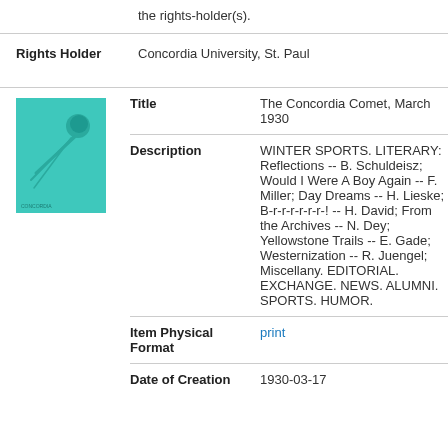the rights-holder(s).
Rights Holder: Concordia University, St. Paul
[Figure (illustration): Thumbnail image of The Concordia Comet March 1930 cover, teal/turquoise colored booklet with a comet illustration]
Title: The Concordia Comet, March 1930
Description: WINTER SPORTS. LITERARY: Reflections -- B. Schuldeisz; Would I Were A Boy Again -- F. Miller; Day Dreams -- H. Lieske; B-r-r-r-r-r-r-! -- H. David; From the Archives -- N. Dey; Yellowstone Trails -- E. Gade; Westernization -- R. Juengel; Miscellany. EDITORIAL. EXCHANGE. NEWS. ALUMNI. SPORTS. HUMOR.
Item Physical Format: print
Date of Creation: 1930-03-17